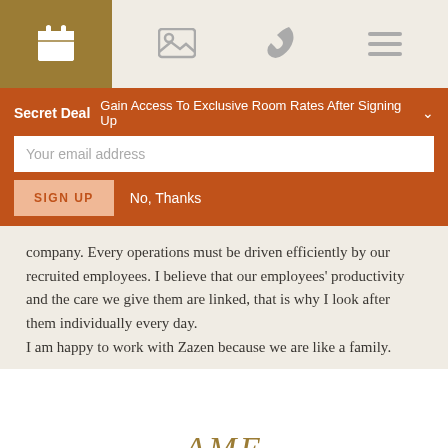[Figure (screenshot): Navigation bar with calendar icon (brown background), image icon, phone icon, and hamburger menu icon on beige background]
Secret Deal  Gain Access To Exclusive Room Rates After Signing Up
Your email address
SIGN UP   No, Thanks
company. Every operations must be driven efficiently by our recruited employees. I believe that our employees' productivity and the care we give them are linked, that is why I look after them individually every day.
I am happy to work with Zazen because we are like a family.
AME
SALES MANAGER